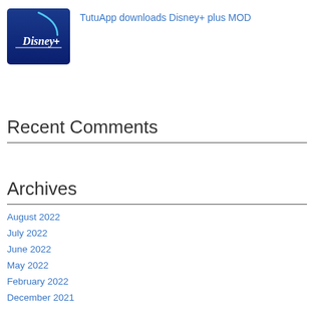[Figure (logo): Disney+ app logo — blue background with Disney+ wordmark in white]
TutuApp downloads Disney+ plus MOD
Recent Comments
Archives
August 2022
July 2022
June 2022
May 2022
February 2022
December 2021